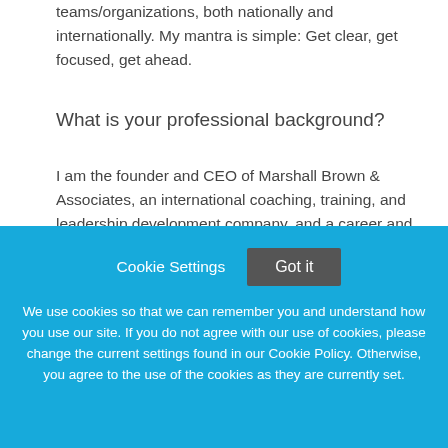teams/organizations, both nationally and internationally. My mantra is simple: Get clear, get focused, get ahead.
What is your professional background?
I am the founder and CEO of Marshall Brown & Associates, an international coaching, training, and leadership development company, and a career and executive coach with a passion for encouraging individuals and organizations to
Cookie Settings
Got it
We use cookies so that we can remember you and understand how you use our site. If you do not agree with our use of cookies, please change the current settings found in our Cookie Policy. Otherwise, you agree to the use of the cookies as they are currently set.